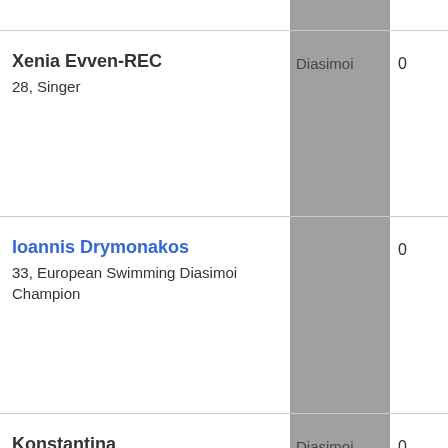| Name | Category | Number |
| --- | --- | --- |
| Xenia Evven-REC
28, Singer | Diasimoi | 0 |
| Ioannis Drymonakos
33, European Swimming Champion | Diasimoi | 0 |
| Konstantina
Spyropoulou | Diasimoi | 0 |